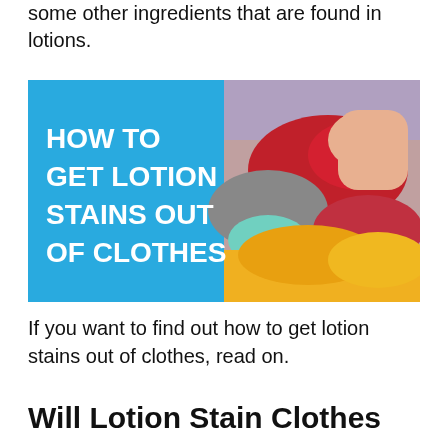some other ingredients that are found in lotions.
[Figure (illustration): Infographic image with blue background on left half showing bold white text 'HOW TO GET LOTION STAINS OUT OF CLOTHES' and right half showing a photo of hands handling colorful laundry pile]
If you want to find out how to get lotion stains out of clothes, read on.
Will Lotion Stain Clothes